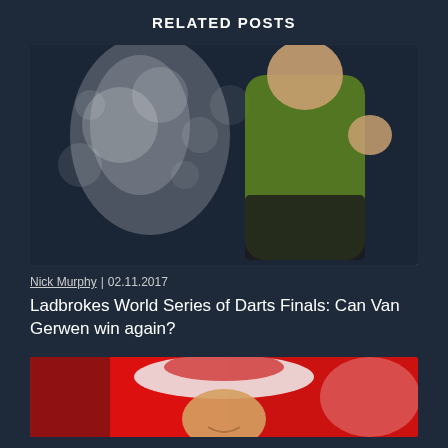RELATED POSTS
[Figure (photo): Darts player in green shirt celebrating with raised fist against bokeh spotlight background]
Nick Murphy | 02.11.2017
Ladbrokes World Series of Darts Finals: Can Van Gerwen win again?
[Figure (photo): Darts player in red and white costume smiling, partial view]